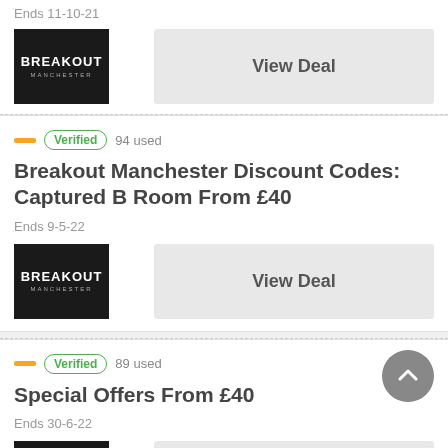Ends 11-10-21
[Figure (logo): Breakout Manchester logo - white text on black background]
View Deal
Verified  94 used
Breakout Manchester Discount Codes: Captured B Room From £40
Ends 9-5-22
[Figure (logo): Breakout Manchester logo - white text on black background]
View Deal
Verified  89 used
Special Offers From £40
Ends 30-6-22
[Figure (logo): Breakout Manchester logo - white text on black background]
View Deal